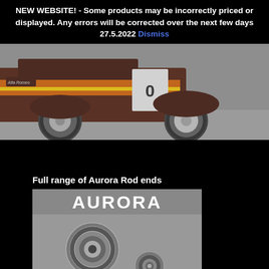NEW WEBSITE! - Some products may be incorrectly priced or displayed. Any errors will be corrected over the next few days 27.5.2022 Dismiss
[Figure (photo): Close-up photo of a classic racing car (dark brown/maroon) with orange and yellow racing stripes, showing the front wheel area and bodywork on a road surface]
Full range of Aurora Rod ends
[Figure (photo): Product image showing Aurora brand rod ends/bearings in gray and silver tones with Aurora logo text at top]